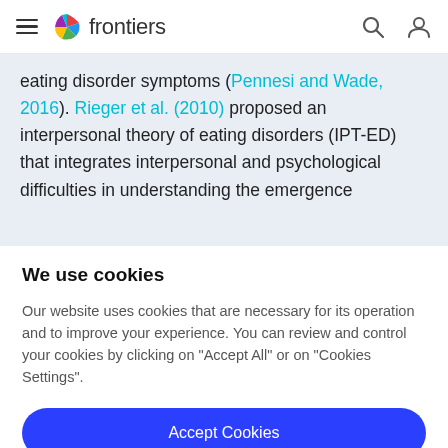frontiers
eating disorder symptoms (Pennesi and Wade, 2016). Rieger et al. (2010) proposed an interpersonal theory of eating disorders (IPT-ED) that integrates interpersonal and psychological difficulties in understanding the emergence
We use cookies
Our website uses cookies that are necessary for its operation and to improve your experience. You can review and control your cookies by clicking on "Accept All" or on "Cookies Settings".
Accept Cookies
Cookies Settings